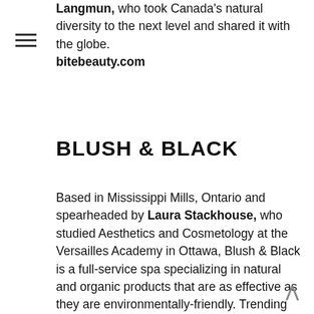Langmun, who took Canada's natural diversity to the next level and shared it with the globe. bitebeauty.com
BLUSH & BLACK
Based in Mississippi Mills, Ontario and spearheaded by Laura Stackhouse, who studied Aesthetics and Cosmetology at the Versailles Academy in Ottawa, Blush & Black is a full-service spa specializing in natural and organic products that are as effective as they are environmentally-friendly. Trending treatments include the Ultra Ageless Facial, which helps repair and protect skin from harsh Canadian climates with cloudberries harvested from Newfoundland and indigenous ice wine actives that instantly lift and tighten, as well as the especially reactivating Organic Foot